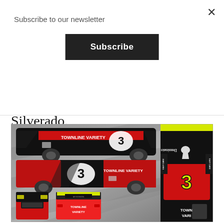Subscribe to our newsletter
Subscribe
the team's number three Chevrolet Silverado.
[Figure (photo): NASCAR truck series vehicle render showing number 3 Chevrolet Silverado with Townline Variety sponsorship in black and red livery, shown from multiple angles including side views and top-down perspective]